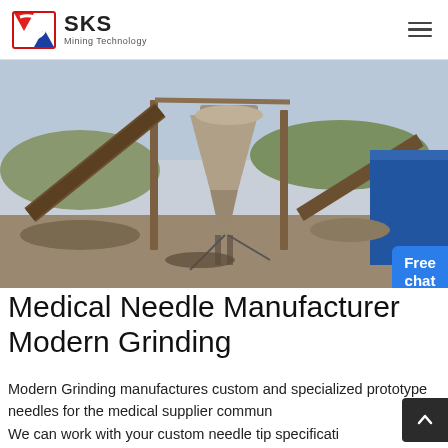[Figure (logo): SKS Mining Technology logo with red/blue geometric icon and text]
[Figure (photo): Industrial mining/grinding facility with large machinery, conveyor structures, and a cone-shaped processing unit at a quarry site]
Medical Needle Manufacturer Modern Grinding
Modern Grinding manufactures custom and specialized prototype needles for the medical supplier community. We can work with your custom needle tip specifications to create custom needle grinding process.